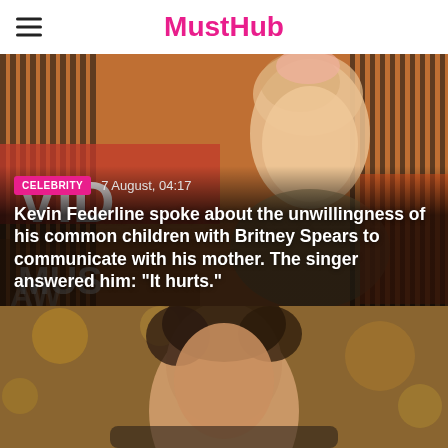MustHub
[Figure (photo): Britney Spears at MTV Video Music Awards, smiling on red carpet with VMA backdrop, wearing a sparkly dress, blonde updo hairstyle. Overlaid with article category badge and headline.]
Kevin Federline spoke about the unwillingness of his common children with Britney Spears to communicate with his mother. The singer answered him: "It hurts."
[Figure (photo): Man with dark curly hair at what appears to be a formal event with bokeh background lighting.]